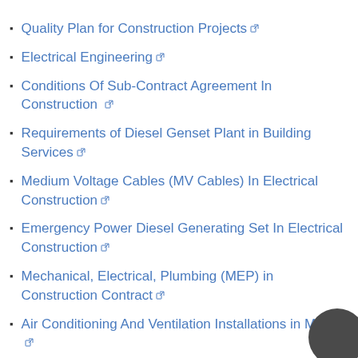Quality Plan for Construction Projects
Electrical Engineering
Conditions Of Sub-Contract Agreement In Construction
Requirements of Diesel Genset Plant in Building Services
Medium Voltage Cables (MV Cables) In Electrical Construction
Emergency Power Diesel Generating Set In Electrical Construction
Mechanical, Electrical, Plumbing (MEP) in Construction Contract
Air Conditioning And Ventilation Installations in MEP